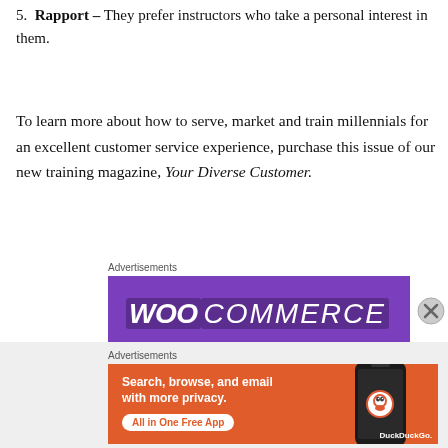5. Rapport – They prefer instructors who take a personal interest in them.
To learn more about how to serve, market and train millennials for an excellent customer service experience, purchase this issue of our new training magazine, Your Diverse Customer.
Advertisements
[Figure (illustration): WooCommerce advertisement banner with purple background and WooCommerce logo in white text]
Advertisements
[Figure (illustration): DuckDuckGo advertisement on orange background: Search, browse, and email with more privacy. All in One Free App. Shows phone with DuckDuckGo logo.]